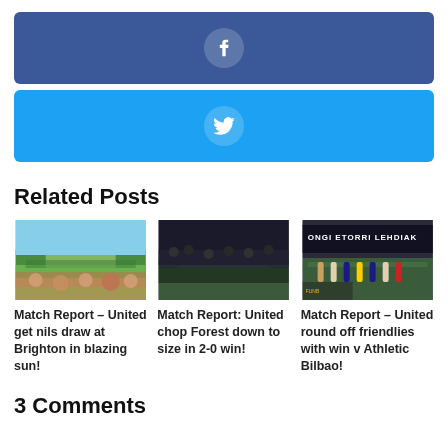[Figure (other): Facebook share button bar - dark blue rounded rectangle with Facebook 'f' icon in circle]
[Figure (other): Twitter share button bar - light blue rounded rectangle with Twitter bird icon in circle]
Related Posts
[Figure (photo): Stadium crowd photo from inside Brighton stadium in bright sunlight]
Match Report – United get nils draw at Brighton in blazing sun!
[Figure (photo): Dark crowd photo inside stadium with fans on pitch]
Match Report: United chop Forest down to size in 2-0 win!
[Figure (photo): Photo of players and officials lining up with banner reading ONGI ETORRI LEHDIAK]
Match Report – United round off friendlies with win v Athletic Bilbao!
3 Comments